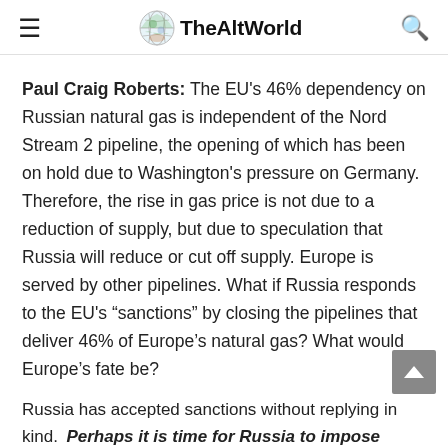TheAltWorld
Paul Craig Roberts: The EU's 46% dependency on Russian natural gas is independent of the Nord Stream 2 pipeline, the opening of which has been on hold due to Washington's pressure on Germany. Therefore, the rise in gas price is not due to a reduction of supply, but due to speculation that Russia will reduce or cut off supply. Europe is served by other pipelines. What if Russia responds to the EU's “sanctions” by closing the pipelines that deliver 46% of Europe’s natural gas? What would Europe’s fate be?
Russia has accepted sanctions without replying in kind. Perhaps it is time for Russia to impose